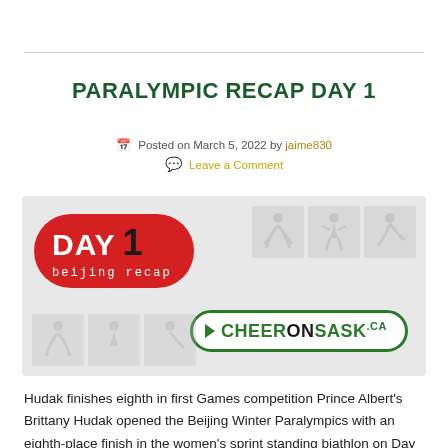PARALYMPIC RECAP DAY 1
Posted on March 5, 2022 by jaime830
Leave a Comment
[Figure (photo): Day 1 Beijing Recap graphic with red pill badge reading 'DAY 1 beijing recap' and CheerOnSask.ca logo on grey background with athlete silhouette icons]
Hudak finishes eighth in first Games competition Prince Albert's Brittany Hudak opened the Beijing Winter Paralympics with an eighth-place finish in the women's sprint standing biathlon on Day 1 of competition. Hudak completed